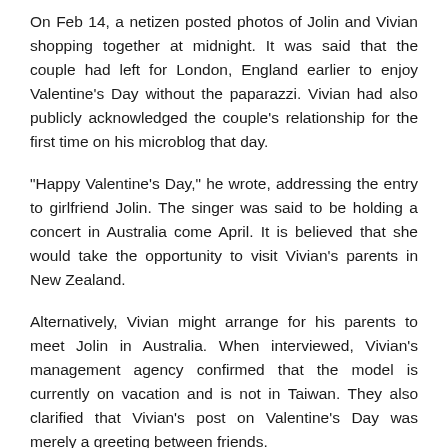On Feb 14, a netizen posted photos of Jolin and Vivian shopping together at midnight. It was said that the couple had left for London, England earlier to enjoy Valentine's Day without the paparazzi. Vivian had also publicly acknowledged the couple's relationship for the first time on his microblog that day.
"Happy Valentine's Day," he wrote, addressing the entry to girlfriend Jolin. The singer was said to be holding a concert in Australia come April. It is believed that she would take the opportunity to visit Vivian's parents in New Zealand.
Alternatively, Vivian might arrange for his parents to meet Jolin in Australia. When interviewed, Vivian's management agency confirmed that the model is currently on vacation and is not in Taiwan. They also clarified that Vivian's post on Valentine's Day was merely a greeting between friends.
On the other hand, Jolin's manager denied news that the concert in Australia has been confirmed. When asked if Jolin planned to visit New Zealand, he said, "There's much work to be done before and after the concert. She'd have no time to go [to New Zealand]."